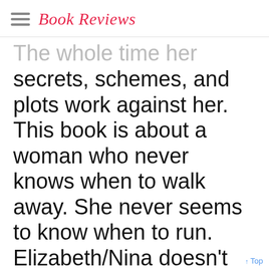Book Reviews
The whole time her secrets, schemes, and plots work against her. This book is about a woman who never knows when to walk away. She never seems to know when to run. Elizabeth/Nina doesn't even seem to